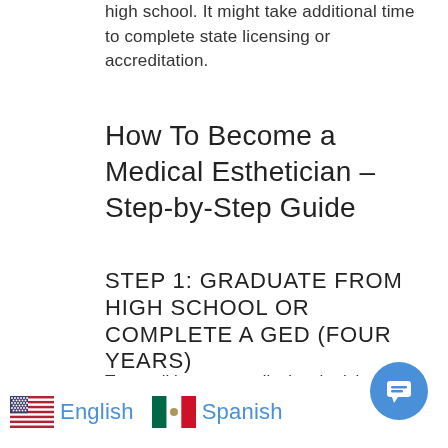high school. It might take additional time to complete state licensing or accreditation.
How To Become a Medical Esthetician – Step-by-Step Guide
STEP 1: GRADUATE FROM HIGH SCHOOL OR COMPLETE A GED (FOUR YEARS)
To enroll in most medical esthetician programs, candidates must complete